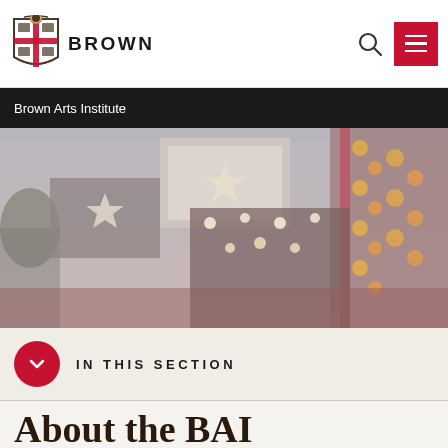[Figure (logo): Brown University crest/shield logo with BROWN text]
Brown Arts Institute
[Figure (photo): Nighttime outdoor scene with illuminated signs, red lanterns, and stage lighting in an urban/campus setting]
IN THIS SECTION
About the BAI